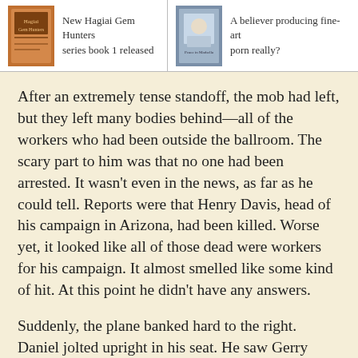New Hagiai Gem Hunters series book 1 released
A believer producing fine-art porn really?
After an extremely tense standoff, the mob had left, but they left many bodies behind—all of the workers who had been outside the ballroom. The scary part to him was that no one had been arrested. It wasn't even in the news, as far as he could tell. Reports were that Henry Davis, head of his campaign in Arizona, had been killed. Worse yet, it looked like all of those dead were workers for his campaign. It almost smelled like some kind of hit. At this point he didn't have any answers.
Suddenly, the plane banked hard to the right. Daniel jolted upright in his seat. He saw Gerry coming out of the cockpit door, all sweat from the co-pilot...